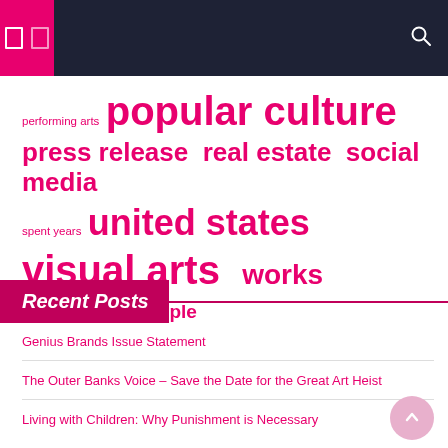Navigation header with pink and dark navy bar
performing arts  popular culture  press release  real estate  social media  spent years  united states  visual arts  works art  young people
Recent Posts
Genius Brands Issue Statement
The Outer Banks Voice – Save the Date for the Great Art Heist
Living with Children: Why Punishment is Necessary